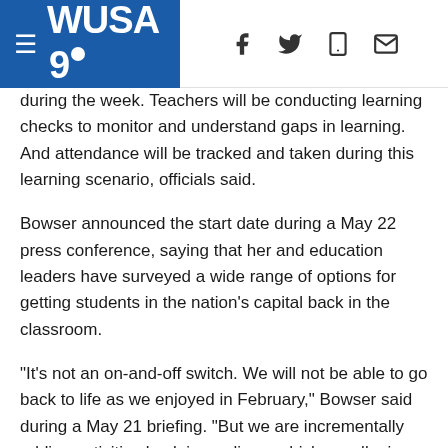WUSA9 navigation header with hamburger menu, WUSA9 logo, and social/share icons (Facebook, Twitter, mobile, email)
during the week. Teachers will be conducting learning checks to monitor and understand gaps in learning. And attendance will be tracked and taken during this learning scenario, officials said.
Bowser announced the start date during a May 22 press conference, saying that her and education leaders have surveyed a wide range of options for getting students in the nation's capital back in the classroom.
"It's not an on-and-off switch. We will not be able to go back to life as we enjoyed in February," Bowser said during a May 21 briefing. "But we are incrementally adding activities back in our lives, which we all miss and we are all eager to get back to."
The District is also offering online internships platforms for high school and college students planning on working with those in the Marion Barry Summer Youth Jobs Program. Summer camps in D.C. are also changing, now switching to